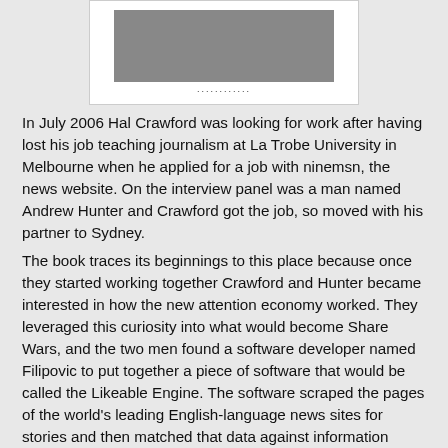[Figure (photo): Partial image of a person/book cover shown at top of the page, with a row of dots below it, inside a white bordered box.]
In July 2006 Hal Crawford was looking for work after having lost his job teaching journalism at La Trobe University in Melbourne when he applied for a job with ninemsn, the news website. On the interview panel was a man named Andrew Hunter and Crawford got the job, so moved with his partner to Sydney.
The book traces its beginnings to this place because once they started working together Crawford and Hunter became interested in how the new attention economy worked. They leveraged this curiosity into what would become Share Wars, and the two men found a software developer named Filipovic to put together a piece of software that would be called the Likeable Engine. The software scraped the pages of the world's leading English-language news sites for stories and then matched that data against information about how those stories had been used and acknowledged in Facebook and Twitter, using the APIs of those two platforms.